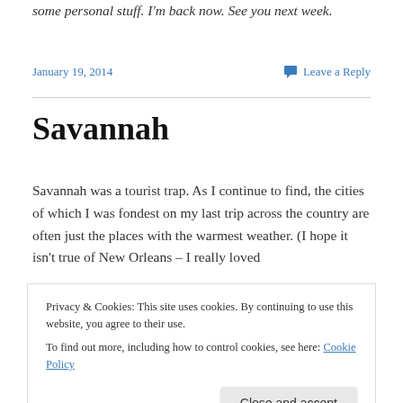some personal stuff. I'm back now. See you next week.
January 19, 2014
Leave a Reply
Savannah
Savannah was a tourist trap. As I continue to find, the cities of which I was fondest on my last trip across the country are often just the places with the warmest weather. (I hope it isn't true of New Orleans – I really loved
Privacy & Cookies: This site uses cookies. By continuing to use this website, you agree to their use.
To find out more, including how to control cookies, see here: Cookie Policy
Close and accept
discomfort.